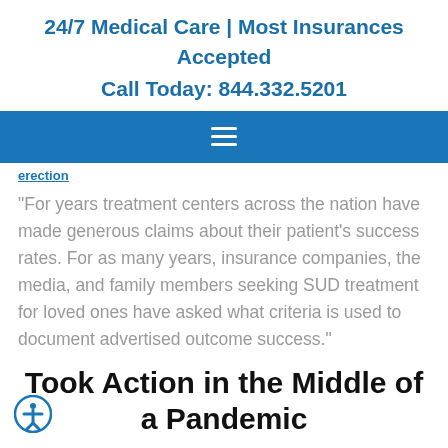24/7 Medical Care | Most Insurances Accepted
Call Today: 844.332.5201
[Figure (other): Blue navigation bar with hamburger menu icon (three white horizontal lines)]
erection
“For years treatment centers across the nation have made generous claims about their patient’s success rates. For as many years, insurance companies, the media, and family members seeking SUD treatment for loved ones have asked what criteria is used to document advertised outcome success.”
Took Action in the Middle of a Pandemic